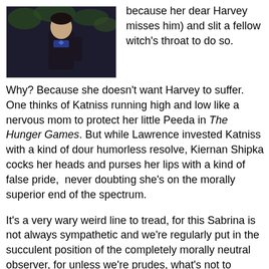[Figure (photo): A dark-toned photo of a person in formal attire with a blue bow tie, outdoors with green foliage in the background.]
because her dear Harvey misses him) and slit a fellow witch's throat to do so.
Why? Because she doesn't want Harvey to suffer. One thinks of Katniss running high and low like a nervous mom to protect her little Peeda in The Hunger Games. But while Lawrence invested Katniss with a kind of dour humorless resolve, Kiernan Shipka cocks her heads and purses her lips with a kind of false pride,  never doubting she's on the morally superior end of the spectrum.
It's a very wary weird line to tread, for this Sabrina is not always sympathetic and we're regularly put in the succulent position of the completely morally neutral observer, for unless we're prudes, what's not to celebrate in one of her rival's enjoying a luxurious orgy before her sacrifice at the hands of the Satanic coven for a horrifyingly literal combination thanksgiving and church sacramental wafer? Nada!